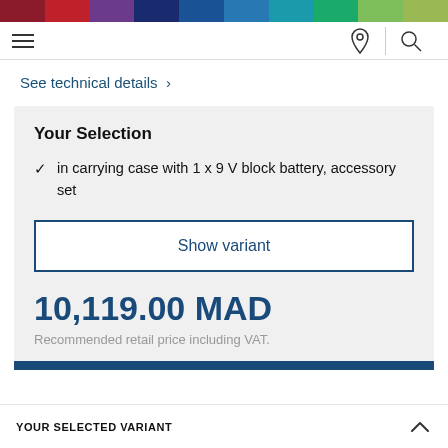[Figure (other): Multicolor decorative top bar with segments in dark red, red, purple, dark blue, medium blue, light blue, teal, green, light green, olive]
Navigation bar with hamburger menu, location pin icon, and search icon
See technical details >
Your Selection
in carrying case with 1 x 9 V block battery, accessory set
Show variant
10,119.00 MAD
Recommended retail price including VAT.
YOUR SELECTED VARIANT